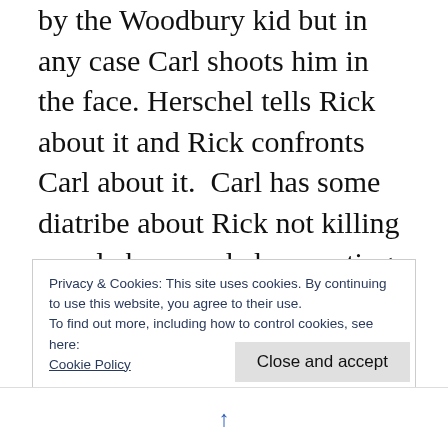by the Woodbury kid but in any case Carl shoots him in the face. Herschel tells Rick about it and Rick confronts Carl about it.  Carl has some diatribe about Rick not killing people have ended up costing lives.  While not totally untrue,  still awful coming from that little shit with his wooden delivery and all.   So at the end when the Woodbury folks are getting off the bus at their new home,  the prison,  you see Carl is all pissed about it.  Fuck him.  I really hope they can keep him out of the spotlight
Privacy & Cookies: This site uses cookies. By continuing to use this website, you agree to their use.
To find out more, including how to control cookies, see here:
Cookie Policy